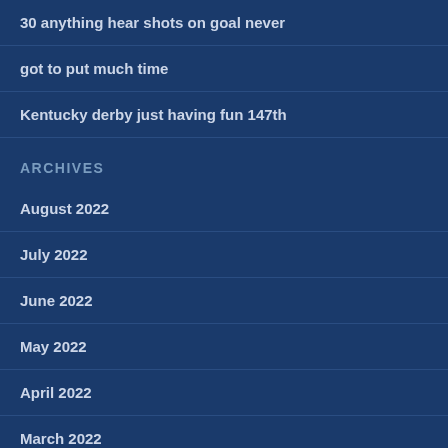30 anything hear shots on goal never
got to put much time
Kentucky derby just having fun 147th
ARCHIVES
August 2022
July 2022
June 2022
May 2022
April 2022
March 2022